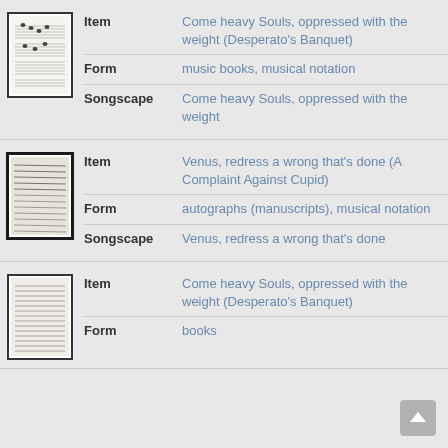[Figure (illustration): Thumbnail of a music sheet with musical notation, printed page]
Item: Come heavy Souls, oppressed with the weight (Desperato's Banquet)
Form: music books, musical notation
Songscape: Come heavy Souls, oppressed with the weight
[Figure (illustration): Thumbnail of a handwritten manuscript page with musical notation, dark border]
Item: Venus, redress a wrong that's done (A Complaint Against Cupid)
Form: autographs (manuscripts), musical notation
Songscape: Venus, redress a wrong that's done
[Figure (illustration): Thumbnail of a printed book or manuscript page with text]
Item: Come heavy Souls, oppressed with the weight (Desperato's Banquet)
Form: books